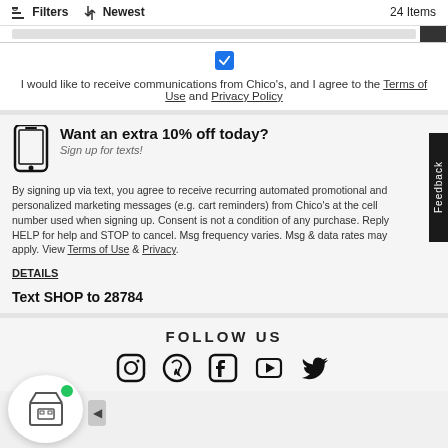Filters  ↑↓ Newest  24 Items
I would like to receive communications from Chico's, and I agree to the Terms of Use and Privacy Policy
Want an extra 10% off today?
Sign up for texts!
By signing up via text, you agree to receive recurring automated promotional and personalized marketing messages (e.g. cart reminders) from Chico's at the cell number used when signing up. Consent is not a condition of any purchase. Reply HELP for help and STOP to cancel. Msg frequency varies. Msg & data rates may apply. View Terms of Use & Privacy.
DETAILS
Text SHOP to 28784
FOLLOW US